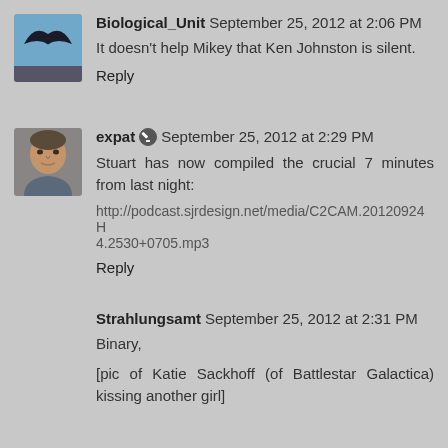[Figure (photo): Avatar image of Biological_Unit showing a bird/eagle silhouette against a sky background]
Biological_Unit September 25, 2012 at 2:06 PM
It doesn't help Mikey that Ken Johnston is silent.
Reply
[Figure (photo): Avatar image of expat showing a middle-aged man's face]
expat [edit icon] September 25, 2012 at 2:29 PM
Stuart has now compiled the crucial 7 minutes from last night:
http://podcast.sjrdesign.net/media/C2CAM.20120924H4.2530+0705.mp3
Reply
Strahlungsamt September 25, 2012 at 2:31 PM
Binary,
[pic of Katie Sackhoff (of Battlestar Galactica) kissing another girl]